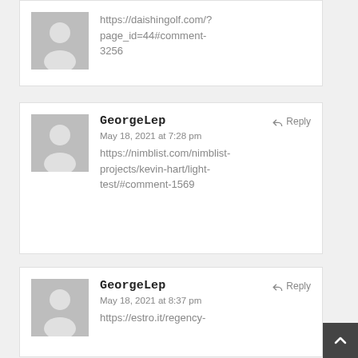https://daishingolf.com/?page_id=44#comment-3256
GeorgeLep
May 18, 2021 at 7:28 pm
https://nimblist.com/nimblist-projects/kevin-hart/light-test/#comment-1569
GeorgeLep
May 18, 2021 at 8:37 pm
https://estro.it/regency-